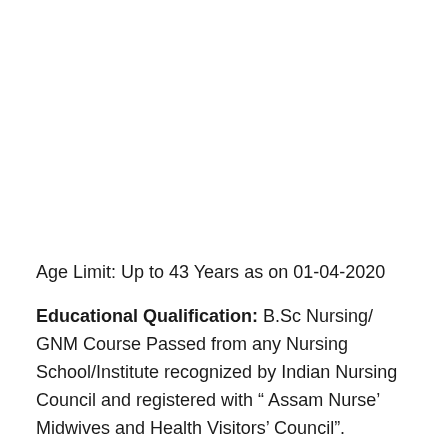Age Limit: Up to 43 Years as on 01-04-2020
Educational Qualification: B.Sc Nursing/GNM Course Passed from any Nursing School/Institute recognized by Indian Nursing Council and registered with “ Assam Nurse’ Midwives and Health Visitors’ Council”.